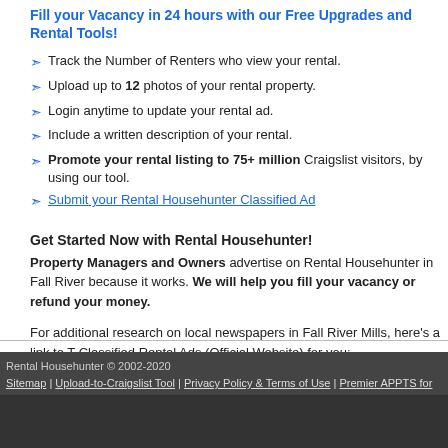Fill your Vacancy in 24 hours with our Free Upgrades and Rental Tools!
Track the Number of Renters who view your rental.
Upload up to 12 photos of your rental property.
Login anytime to update your rental ad.
Include a written description of your rental.
Promote your rental listing to 75+ million Craigslist visitors, by using our tool.
Submit your Rental Househunter Classified Ad
Get Started Now with Rental Househunter! Property Managers and Owners advertise on Rental Househunter in Fall River because it works. We will help you fill your vacancy or refund your money.
For additional research on local newspapers in Fall River Mills, here's a link to Classified Rental Ads (Official Website) for you: http://www.mountainecho.com/
Rental Househunter © 2002-2020 | Sitemap | Upload-to-Craigslist Tool | Privacy Policy & Terms of Use | Premier APPTS for Rent Classified Ads | Search Apartments by State | Search Houses for Rent by State